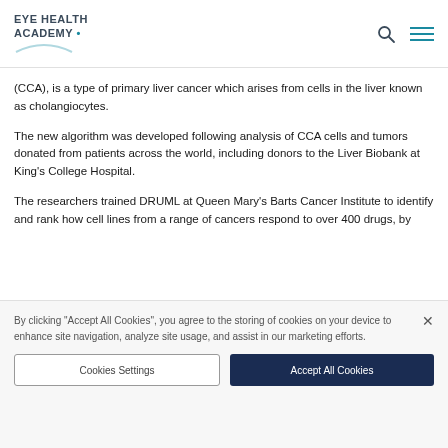EYE HEALTH ACADEMY
(CCA), is a type of primary liver cancer which arises from cells in the liver known as cholangiocytes.
The new algorithm was developed following analysis of CCA cells and tumors donated from patients across the world, including donors to the Liver Biobank at King's College Hospital.
The researchers trained DRUML at Queen Mary's Barts Cancer Institute to identify and rank how cell lines from a range of cancers respond to over 400 drugs, by
By clicking "Accept All Cookies", you agree to the storing of cookies on your device to enhance site navigation, analyze site usage, and assist in our marketing efforts.
Cookies Settings
Accept All Cookies